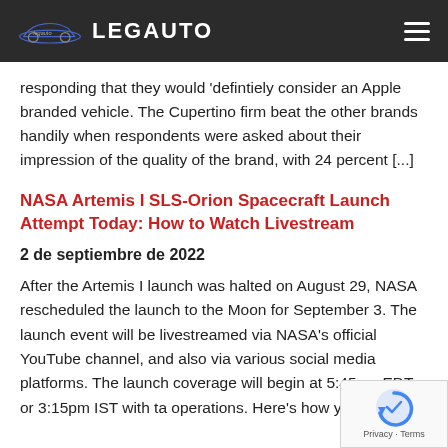LEGAUTO
responding that they would 'defintiely consider an Apple branded vehicle. The Cupertino firm beat the other brands handily when respondents were asked about their impression of the quality of the brand, with 24 percent [...]
NASA Artemis I SLS-Orion Spacecraft Launch Attempt Today: How to Watch Livestream
2 de septiembre de 2022
After the Artemis I launch was halted on August 29, NASA rescheduled the launch to the Moon for September 3. The launch event will be livestreamed via NASA's official YouTube channel, and also via various social media platforms. The launch coverage will begin at 5:45am EDT or 3:15pm IST with ta operations. Here's how you [...]